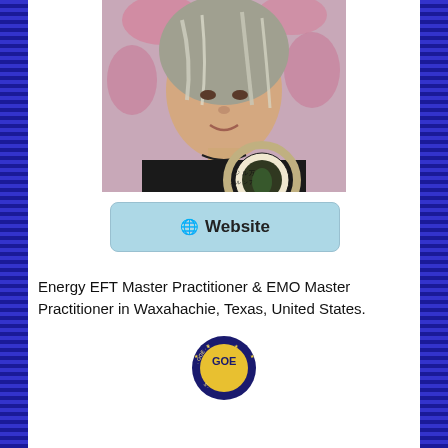[Figure (photo): Portrait photo of a woman with long grey dreadlocks, smiling, wearing a black garment with decorative circular pattern, against a pink floral background]
🌐 Website
Energy EFT Master Practitioner & EMO Master Practitioner in Waxahachie, Texas, United States.
[Figure (logo): GOE badge/seal logo - circular badge with dark blue border, yellow/gold center, text reading GOE and partial text]